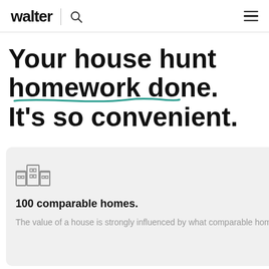walter
Your house hunt homework done. It's so convenient.
100 comparable homes.
The value of a house is strongly influenced by what comparable homes in the neighborhood do.
10 ye...
To see... is, we... develo...